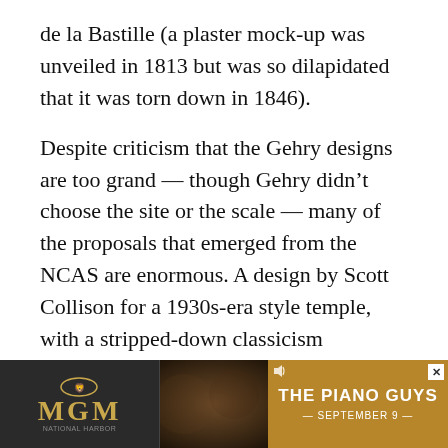de la Bastille (a plaster mock-up was unveiled in 1813 but was so dilapidated that it was torn down in 1846).
Despite criticism that the Gehry designs are too grand — though Gehry didn't choose the site or the scale — many of the proposals that emerged from the NCAS are enormous. A design by Scott Collison for a 1930s-era style temple, with a stripped-down classicism reminiscent of the office buildings created for the New Deal enlargement of the federal government, won special commendation from the NCAS chairman, but it towers above an already gargantuan statue of Eisenhower and is immediately evocative of the internationally popular style deployed in totalitarian and free countries alike after the destabilization of the Depression. It has the slightly
[Figure (other): MGM advertisement banner for 'The Piano Guys' event, September 9, with MGM lion logo on dark background and golden/amber color scheme.]